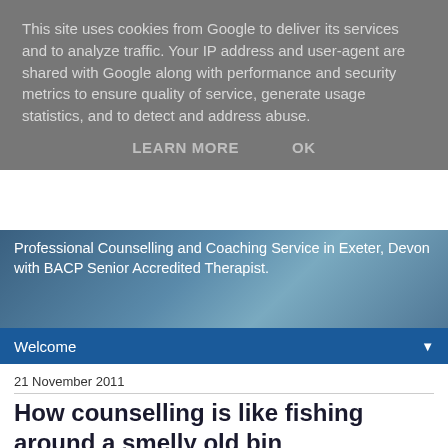This site uses cookies from Google to deliver its services and to analyze traffic. Your IP address and user-agent are shared with Google along with performance and security metrics to ensure quality of service, generate usage statistics, and to detect and address abuse.
LEARN MORE   OK
Professional Counselling and Coaching Service in Exeter, Devon with BACP Senior Accredited Therapist.
Welcome
21 November 2011
How counselling is like fishing around a smelly old bin
[Figure (photo): A black wheelie bin with some items visible inside/on top, shown on a white background]